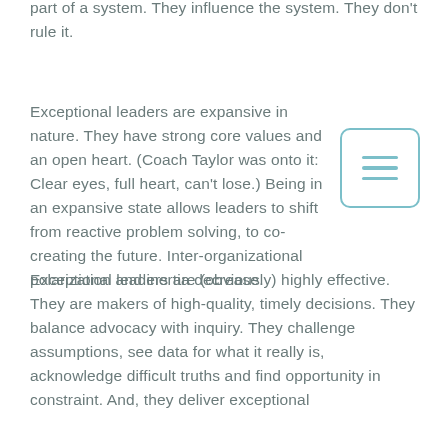part of a system. They influence the system. They don't rule it.
Exceptional leaders are expansive in nature. They have strong core values and an open heart. (Coach Taylor was onto it: Clear eyes, full heart, can't lose.) Being in an expansive state allows leaders to shift from reactive problem solving, to co-creating the future. Inter-organizational polarization and inertia decrease.
Exceptional leaders are (obviously) highly effective. They are makers of high-quality, timely decisions. They balance advocacy with inquiry. They challenge assumptions, see data for what it really is, acknowledge difficult truths and find opportunity in constraint. And, they deliver exceptional